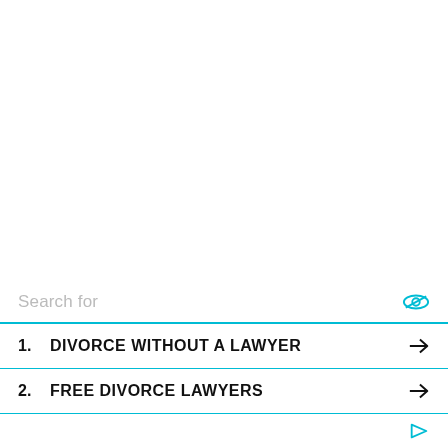Search for
1. DIVORCE WITHOUT A LAWYER
2. FREE DIVORCE LAWYERS